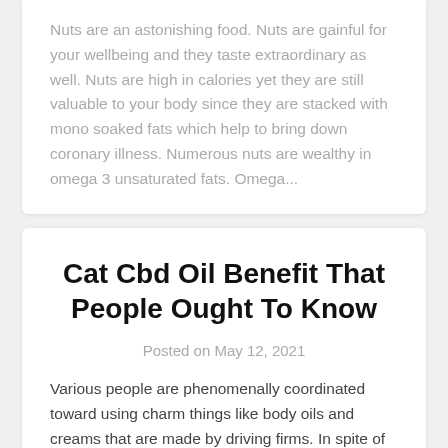Nuts are an astonishing food. Nuts are gainful for your wellbeing and they taste extraordinary as well. Nuts are high in calories yet they are still valuable to your body since they are stacked with mono soaked fats which help to bring down coronary illness. Numerous nuts are wealthy in omega 3 unsaturated fats. Omega...
Cat Cbd Oil Benefit That People Ought To Know
Posted on May 12, 2021
Various people are phenomenally coordinated toward using charm things like body oils and creams that are made by driving firms. In spite of